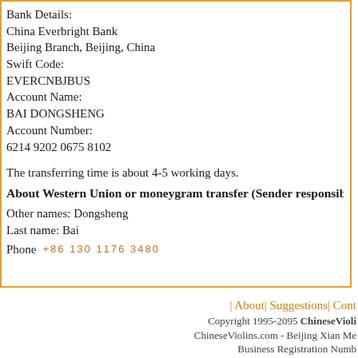Bank Details:
China Everbright Bank
Beijing Branch, Beijing, China
Swift Code:
EVERCNBJBUS
Account Name:
BAI DONGSHENG
Account Number:
6214 9202 0675 8102
The transferring time is about 4-5 working days.
About Western Union or moneygram transfer (Sender responsible...
Other names: Dongsheng
Last name: Bai
Phone +86 130 1176 3480
| About| Suggestions| Cont...
Copyright 1995-2095 ChineseVioli...
ChineseViolins.com - Beijing Xian Me...
Business Registration Numb...